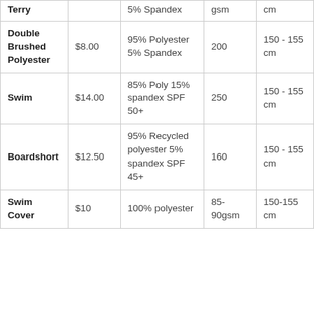| Fabric | Price | Composition | Weight | Width |
| --- | --- | --- | --- | --- |
| Terry |  | 5% Spandex | gsm | cm |
| Double Brushed Polyester | $8.00 | 95% Polyester 5% Spandex | 200 | 150 - 155 cm |
| Swim | $14.00 | 85% Poly 15% spandex SPF 50+ | 250 | 150 - 155 cm |
| Boardshort | $12.50 | 95% Recycled polyester 5% spandex SPF 45+ | 160 | 150 - 155 cm |
| Swim Cover | $10 | 100% polyester | 85-90gsm | 150-155 cm |